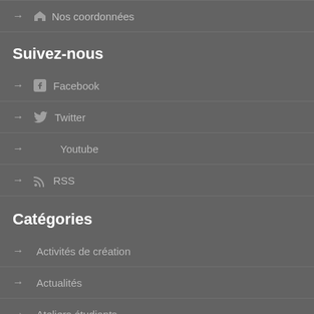→ 🏠 Nos coordonnées
Suivez-nous
→ Facebook
→ Twitter
→ Youtube
→ RSS
Catégories
→ Activités de création
→ Actualités
→ Ateliers étudiants